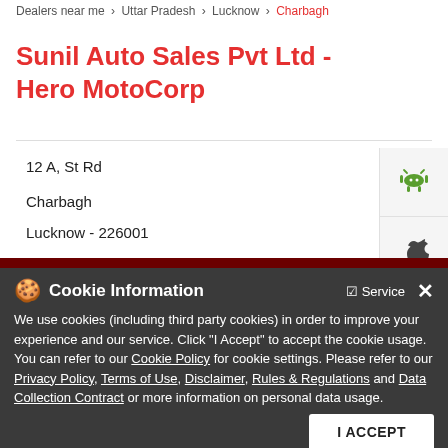Dealers near me > Uttar Pradesh > Lucknow > Charbagh
Sunil Auto Sales Pvt Ltd - Hero MotoCorp
12 A, St Rd
Charbagh
Lucknow - 226001
Opens at 10:00 AM
[Figure (screenshot): Cookie Information overlay with text about cookie usage policy, links to Cookie Policy, Privacy Policy, Terms of Use, Disclaimer, Rules & Regulations, and Data Collection Contract, with an I ACCEPT button]
[Figure (photo): Hero MotoCorp XPulse motorcycle promotional image with text LET'S RAISE SOME DUST]